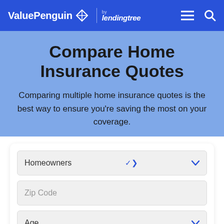ValuePenguin by lendingtree
Compare Home Insurance Quotes
Comparing multiple home insurance quotes is the best way to ensure you're saving the most on your coverage.
Homeowners [dropdown]
Zip Code [input]
Age [dropdown]
Currently insured? Yes [dropdown]